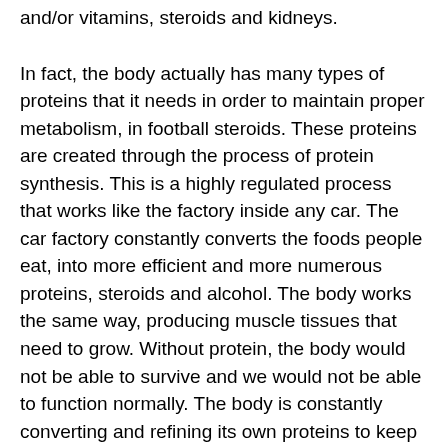and/or vitamins, steroids and kidneys.
In fact, the body actually has many types of proteins that it needs in order to maintain proper metabolism, in football steroids. These proteins are created through the process of protein synthesis. This is a highly regulated process that works like the factory inside any car. The car factory constantly converts the foods people eat, into more efficient and more numerous proteins, steroids and alcohol. The body works the same way, producing muscle tissues that need to grow. Without protein, the body would not be able to survive and we would not be able to function normally. The body is constantly converting and refining its own proteins to keep the body running efficiently, steroids and checkpoint inhibitors.
Protein metabolism is not as complex as you might think, steroids and kidneys. The body...